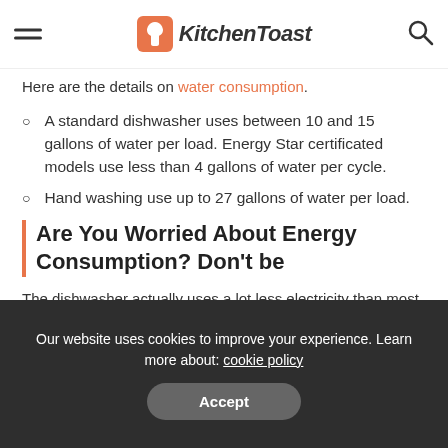KitchenToast (logo and navigation)
Here are the details on water consumption.
A standard dishwasher uses between 10 and 15 gallons of water per load. Energy Star certificated models use less than 4 gallons of water per cycle.
Hand washing use up to 27 gallons of water per load.
Are You Worried About Energy Consumption? Don't be
The dishwasher actually uses a lot less electricity than most people think. Per load, a standard non-certificated
Our website uses cookies to improve your experience. Learn more about: cookie policy  Accept